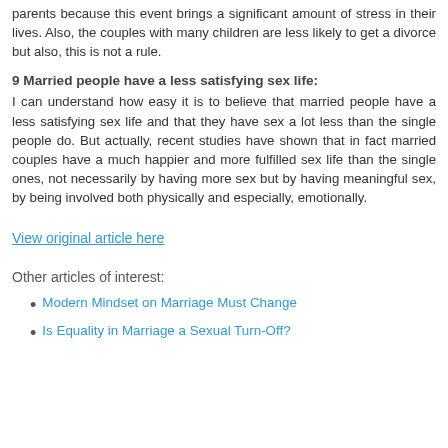parents because this event brings a significant amount of stress in their lives. Also, the couples with many children are less likely to get a divorce but also, this is not a rule.
9 Married people have a less satisfying sex life:
I can understand how easy it is to believe that married people have a less satisfying sex life and that they have sex a lot less than the single people do. But actually, recent studies have shown that in fact married couples have a much happier and more fulfilled sex life than the single ones, not necessarily by having more sex but by having meaningful sex, by being involved both physically and especially, emotionally.
View original article here
Other articles of interest:
Modern Mindset on Marriage Must Change
Is Equality in Marriage a Sexual Turn-Off?